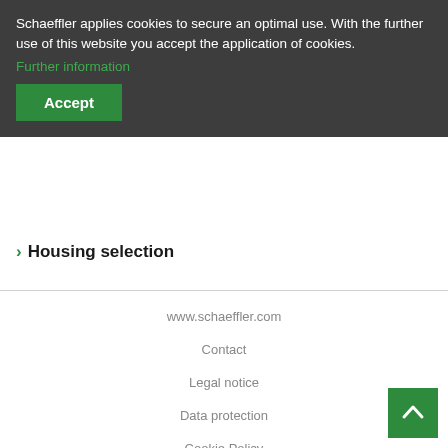Schaeffler applies cookies to secure an optimal use. With the further use of this website you accept the application of cookies.
Further information
Accept
Housing selection
www.schaeffler.com
Contact
Legal notice
Data protection
Cookie Policy
Conditions of use